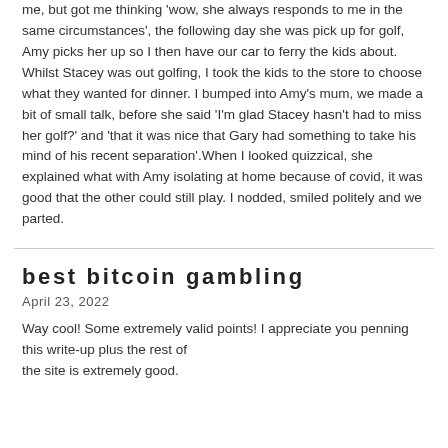me, but got me thinking 'wow, she always responds to me in the same circumstances', the following day she was pick up for golf, Amy picks her up so I then have our car to ferry the kids about. Whilst Stacey was out golfing, I took the kids to the store to choose what they wanted for dinner. I bumped into Amy's mum, we made a bit of small talk, before she said 'I'm glad Stacey hasn't had to miss her golf?' and 'that it was nice that Gary had something to take his mind of his recent separation'.When I looked quizzical, she explained what with Amy isolating at home because of covid, it was good that the other could still play. I nodded, smiled politely and we parted.
best bitcoin gambling
April 23, 2022
Way cool! Some extremely valid points! I appreciate you penning this write-up plus the rest of the site is extremely good.